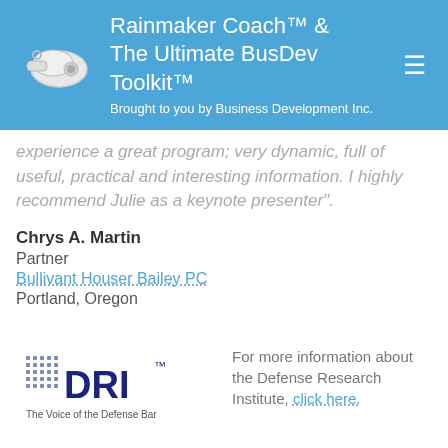Rainmaker Coach™ & The Ultimate BusDev Toolkit™ Brought to you by Business Development Inc.
experience a great program; very dynamic, full of useful, practical and interesting information. I highly recommend Julie as a keynote presenter".
Chrys A. Martin
Partner
Bullivant Houser Bailey PC
Portland, Oregon
[Figure (logo): DRI - The Voice of the Defense Bar logo]
For more information about the Defense Research Institute, click here.